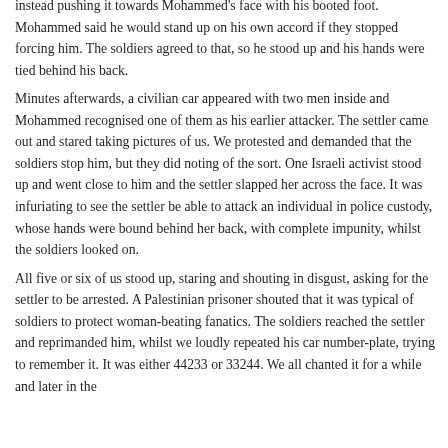instead pushing it towards Mohammed's face with his booted foot. Mohammed said he would stand up on his own accord if they stopped forcing him. The soldiers agreed to that, so he stood up and his hands were tied behind his back. Minutes afterwards, a civilian car appeared with two men inside and Mohammed recognised one of them as his earlier attacker. The settler came out and stared taking pictures of us. We protested and demanded that the soldiers stop him, but they did noting of the sort. One Israeli activist stood up and went close to him and the settler slapped her across the face. It was infuriating to see the settler be able to attack an individual in police custody, whose hands were bound behind her back, with complete impunity, whilst the soldiers looked on. All five or six of us stood up, staring and shouting in disgust, asking for the settler to be arrested. A Palestinian prisoner shouted that it was typical of soldiers to protect woman-beating fanatics. The soldiers reached the settler and reprimanded him, whilst we loudly repeated his car number-plate, trying to remember it. It was either 44233 or 33244. We all chanted it for a while and later in the